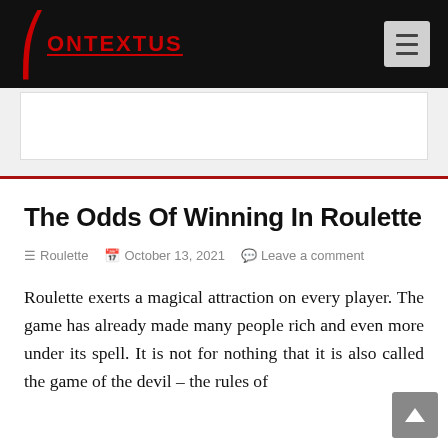CONTEXTUS
The Odds Of Winning In Roulette
Roulette   October 13, 2021   Leave a comment
Roulette exerts a magical attraction on every player. The game has already made many people rich and even more under its spell. It is not for nothing that it is also called the game of the devil – the rules of